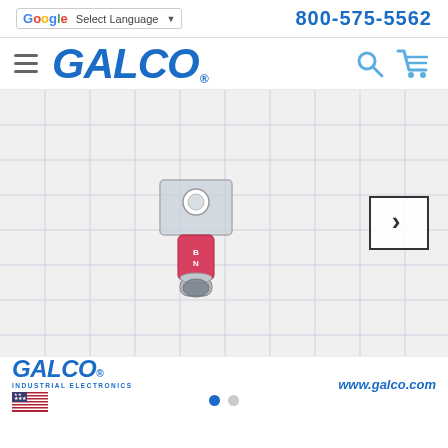Select Language | 800-575-5562
[Figure (logo): GALCO logo with hamburger menu, search and cart icons]
[Figure (photo): Product photo of a clear ring terminal/lug connector with pink/red sleeve on a white grid background]
[Figure (logo): GALCO Industrial Electronics logo with US flag]
www.galco.com